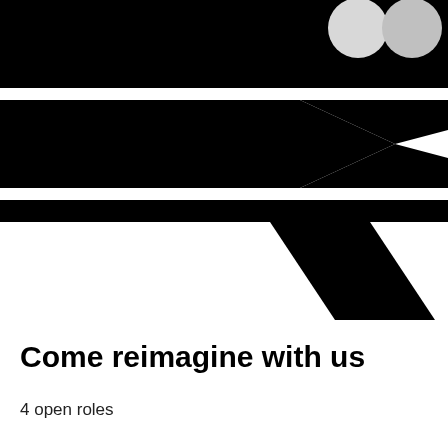[Figure (logo): Black and white geometric logo/graphic with two horizontal black bands and a large angular chevron/arrow shape pointing right, with two circular shapes at the top right corner. Black and white abstract design resembling a stylized fast-forward or progress symbol.]
Come reimagine with us
4 open roles